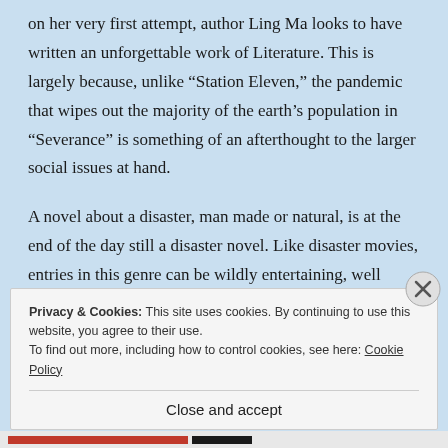on her very first attempt, author Ling Ma looks to have written an unforgettable work of Literature. This is largely because, unlike “Station Eleven,” the pandemic that wipes out the majority of the earth’s population in “Severance” is something of an afterthought to the larger social issues at hand.
A novel about a disaster, man made or natural, is at the end of the day still a disaster novel. Like disaster movies, entries in this genre can be wildly entertaining, well written or directed, but they’re rarely worthy of accolades because they’re still
Privacy & Cookies: This site uses cookies. By continuing to use this website, you agree to their use.
To find out more, including how to control cookies, see here: Cookie Policy
Close and accept